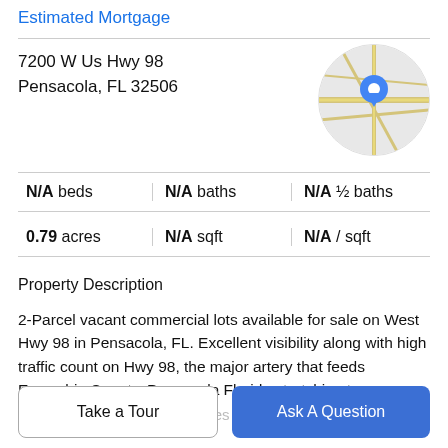Estimated Mortgage
7200 W Us Hwy 98
Pensacola, FL 32506
[Figure (map): Circular map thumbnail showing street map with blue location pin marker]
N/A beds | N/A baths | N/A ½ baths
0.79 acres | N/A sqft | N/A / sqft
Property Description
2-Parcel vacant commercial lots available for sale on West Hwy 98 in Pensacola, FL. Excellent visibility along with high traffic count on Hwy 98, the major artery that feeds Escambia County, Pensacola Florida stretching to
Alabama. The property includes adjoining 2 parcels
Take a Tour
Ask A Question